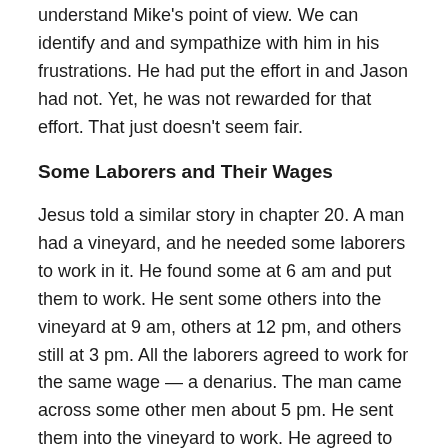understand Mike's point of view. We can identify and and sympathize with him in his frustrations. He had put the effort in and Jason had not. Yet, he was not rewarded for that effort. That just doesn't seem fair.
Some Laborers and Their Wages
Jesus told a similar story in chapter 20. A man had a vineyard, and he needed some laborers to work in it. He found some at 6 am and put them to work. He sent some others into the vineyard at 9 am, others at 12 pm, and others still at 3 pm. All the laborers agreed to work for the same wage — a denarius. The man came across some other men about 5 pm. He sent them into the vineyard to work. He agreed to pay them a denarius too. At the end of the day, the man called all his laborers in from the vineyard to pay them. He distributed the payment to them